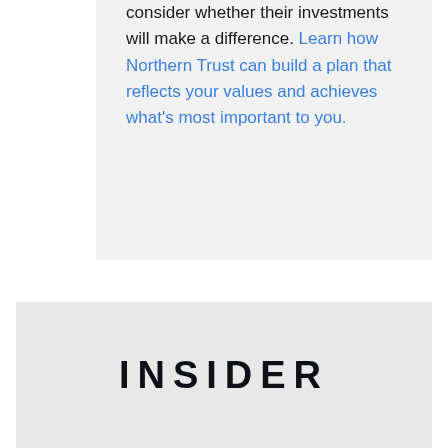consider whether their investments will make a difference. Learn how Northern Trust can build a plan that reflects your values and achieves what's most important to you.
INSIDER